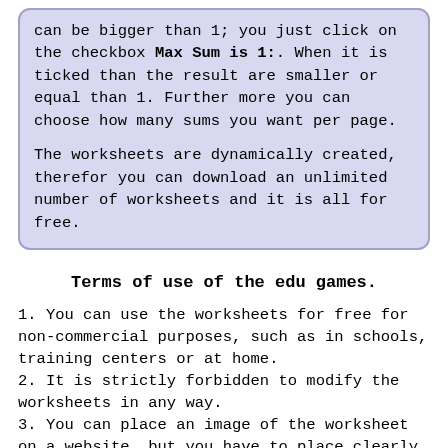can be bigger than 1; you just click on the checkbox Max Sum is 1:. When it is ticked than the result are smaller or equal than 1. Further more you can choose how many sums you want per page.

The worksheets are dynamically created, therefor you can download an unlimited number of worksheets and it is all for free.
Terms of use of the edu games.
1. You can use the worksheets for free for non-commercial purposes, such as in schools, training centers or at home.
2. It is strictly forbidden to modify the worksheets in any way.
3. You can place an image of the worksheet on a website, but you have to place clearly and close to the image a link to www.edu-games.org.
4. It is forbidden to place the worksheet as a pdf file on a